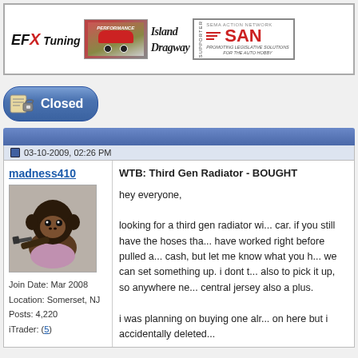[Figure (logo): EFX Tuning logo, car performance image, Island Dragway logo, SAN supporter logo banner]
[Figure (other): Closed thread button with blue pill-shaped background]
03-10-2009, 02:26 PM
madness410
Join Date: Mar 2008
Location: Somerset, NJ
Posts: 4,220
iTrader: (5)
WTB: Third Gen Radiator - BOUGHT
hey everyone,

looking for a third gen radiator wi... car. if you still have the hoses tha... have worked right before pulled a... cash, but let me know what you h... we can set something up. i dont t... also to pick it up, so anywhere ne... central jersey also a plus.

i was planning on buying one alr... on here but i accidentally deleted...